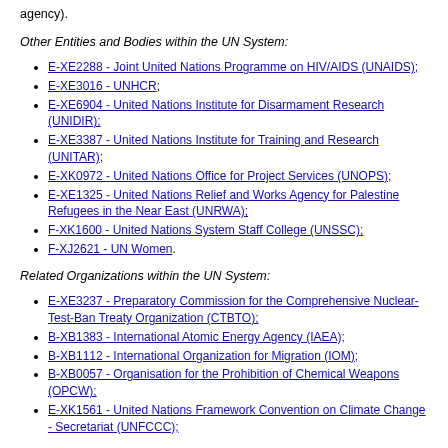agency).
Other Entities and Bodies within the UN System:
E-XE2288 - Joint United Nations Programme on HIV/AIDS (UNAIDS);
E-XE3016 - UNHCR;
E-XE6904 - United Nations Institute for Disarmament Research (UNIDIR);
E-XE3387 - United Nations Institute for Training and Research (UNITAR);
E-XK0972 - United Nations Office for Project Services (UNOPS);
E-XE1325 - United Nations Relief and Works Agency for Palestine Refugees in the Near East (UNRWA);
F-XK1600 - United Nations System Staff College (UNSSC);
F-XJ2621 - UN Women.
Related Organizations within the UN System:
E-XE3237 - Preparatory Commission for the Comprehensive Nuclear-Test-Ban Treaty Organization (CTBTO);
B-XB1383 - International Atomic Energy Agency (IAEA);
B-XB1112 - International Organization for Migration (IOM);
B-XB0057 - Organisation for the Prohibition of Chemical Weapons (OPCW);
E-XK1561 - United Nations Framework Convention on Climate Change - Secretariat (UNFCCC);